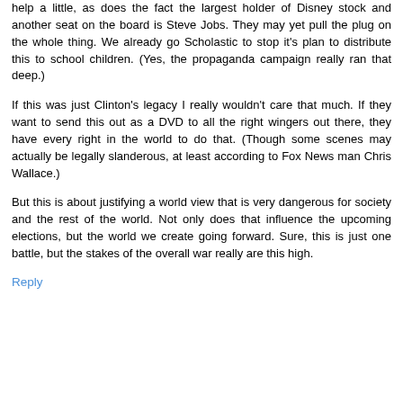help a little, as does the fact the largest holder of Disney stock and another seat on the board is Steve Jobs. They may yet pull the plug on the whole thing. We already go Scholastic to stop it's plan to distribute this to school children. (Yes, the propaganda campaign really ran that deep.)
If this was just Clinton's legacy I really wouldn't care that much. If they want to send this out as a DVD to all the right wingers out there, they have every right in the world to do that. (Though some scenes may actually be legally slanderous, at least according to Fox News man Chris Wallace.)
But this is about justifying a world view that is very dangerous for society and the rest of the world. Not only does that influence the upcoming elections, but the world we create going forward. Sure, this is just one battle, but the stakes of the overall war really are this high.
Reply